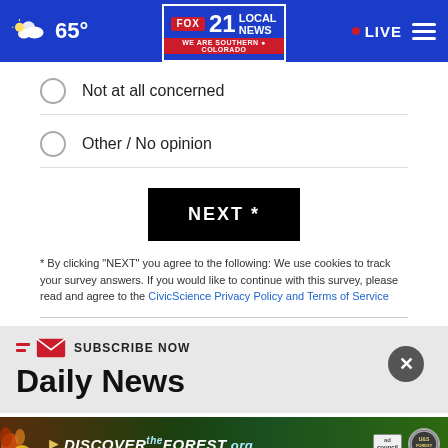FOX 21 LOCAL NEWS — WE ARE SOUTHERN COLORADO | 65° | LIVE
Not at all concerned
Other / No opinion
NEXT *
* By clicking "NEXT" you agree to the following: We use cookies to track your survey answers. If you would like to continue with this survey, please read and agree to the CivicScience Privacy Policy and Terms of Service
SUBSCRIBE NOW
Daily News
[Figure (photo): Advertisement banner for DiscovertheForest.org with forest imagery, ad council and US Forest Service logos]